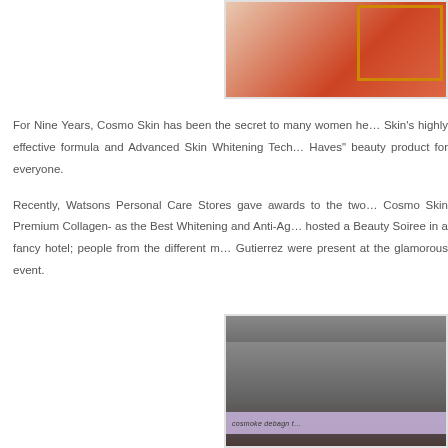[Figure (photo): Partial photo at top right showing a person in red clothing, with an orange rectangular frame accent]
For Nine Years, Cosmo Skin has been the secret to many women he… Skin's highly effective formula and Advanced Skin Whitening Tech… Haves" beauty product for everyone.
Recently, Watsons Personal Care Stores gave awards to the two… Cosmo Skin Premium Collagen- as the Best Whitening and Anti-Ag… hosted a Beauty Soiree in a fancy hotel; people from the different m… Gutierrez were present at the glamorous event.
[Figure (photo): Bottom right photo showing people at a glamorous event with a purple/pink banner visible]